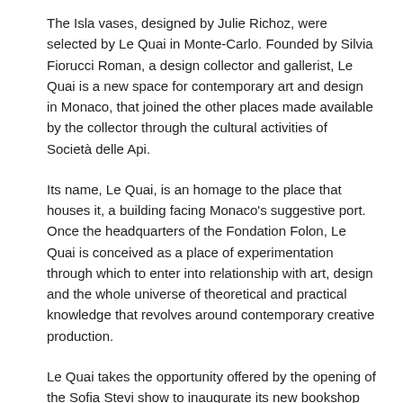The Isla vases, designed by Julie Richoz, were selected by Le Quai in Monte-Carlo. Founded by Silvia Fiorucci Roman, a design collector and gallerist, Le Quai is a new space for contemporary art and design in Monaco, that joined the other places made available by the collector through the cultural activities of Società delle Api.
Its name, Le Quai, is an homage to the place that houses it, a building facing Monaco's suggestive port. Once the headquarters of the Fondation Folon, Le Quai is conceived as a place of experimentation through which to enter into relationship with art, design and the whole universe of theoretical and practical knowledge that revolves around contemporary creative production.
Le Quai takes the opportunity offered by the opening of the Sofia Stevi show to inaugurate its new bookshop featuring a focused selection of books and design objects. Reflecting the multidisciplinary approach that characterizes the space and mission of Società delle Api, the bookshop intends to provide common ground for all artistic practices in embracing every area